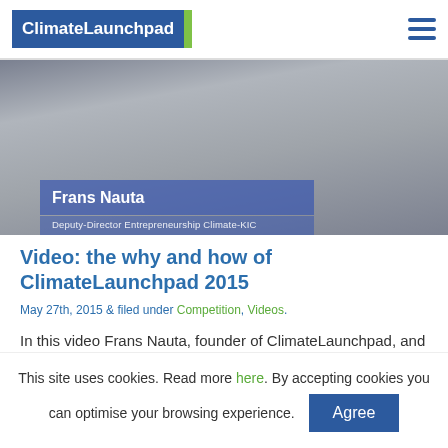ClimateLaunchpad
[Figure (photo): Video thumbnail showing a person gesturing, with overlay text 'Frans Nauta, Deputy-Director Entrepreneurship Climate-KIC']
Video: the why and how of ClimateLaunchpad 2015
May 27th, 2015 & filed under Competition, Videos.
In this video Frans Nauta, founder of ClimateLaunchpad, and Mike Goodfellow-Smith, one of our certified trainers, explain why it’s so important to empower start-ups to combat climate
This site uses cookies. Read more here. By accepting cookies you can optimise your browsing experience. Agree